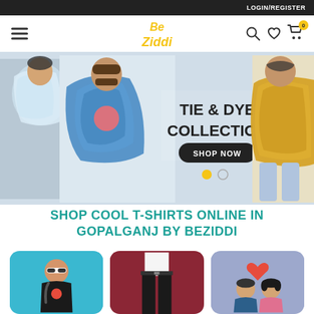LOGIN/REGISTER
[Figure (logo): Be Ziddi logo in yellow stylized text]
[Figure (screenshot): E-commerce website hero banner showing Tie & Dye Collection with two men wearing tie-dye t-shirts on the left and a man in yellow tie-dye shirt on the right. Text reads TIE & DYE COLLECTION with a SHOP NOW button and carousel dots.]
SHOP COOL T-SHIRTS ONLINE IN GOPALGANJ BY BEZIDDI
[Figure (photo): Three product category cards: left card (blue background) showing a man in a black graphic t-shirt with sunglasses and backpack; center card (red/maroon background) showing lower body in black jeans; right card (purple/blue background) showing cartoon couple illustration with a heart above them.]